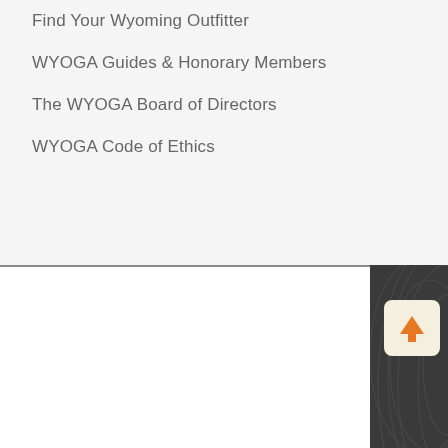Find Your Wyoming Outfitter
WYOGA Guides & Honorary Members
The WYOGA Board of Directors
WYOGA Code of Ethics
By continuing to use this website, you consent to the use of cookies in accordance with our Cookie Policy.
ACCEPT
[Figure (illustration): Dark panel with decorative circular pattern lines and a scroll-to-top arrow button (orange upward arrow on light background, rounded square)]